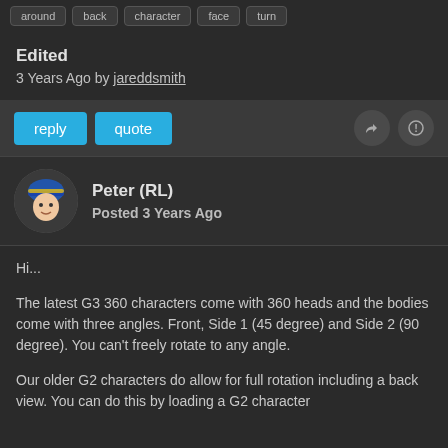around  back  character  face  turn
Edited
3 Years Ago by jareddsmith
reply   quote
Peter (RL)
Posted 3 Years Ago
Hi...
The latest G3 360 characters come with 360 heads and the bodies come with three angles. Front, Side 1 (45 degree) and Side 2 (90 degree). You can't freely rotate to any angle.
Our older G2 characters do allow for full rotation including a back view. You can do this by loading a G2 character